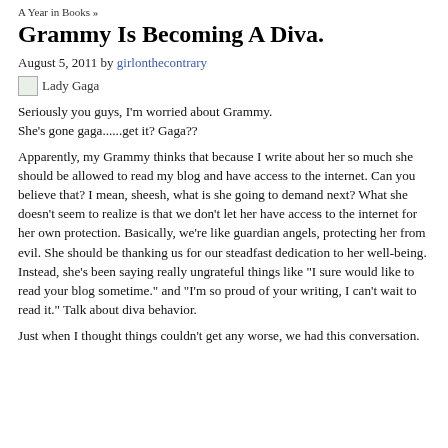A Year in Books »
Grammy Is Becoming A Diva.
August 5, 2011 by girlonthecontrary
[Figure (photo): Broken image placeholder labeled 'Lady Gaga']
Seriously you guys, I'm worried about Grammy.
She's gone gaga......get it? Gaga??
Apparently, my Grammy thinks that because I write about her so much she should be allowed to read my blog and have access to the internet. Can you believe that? I mean, sheesh, what is she going to demand next? What she doesn't seem to realize is that we don't let her have access to the internet for her own protection. Basically, we're like guardian angels, protecting her from evil. She should be thanking us for our steadfast dedication to her well-being. Instead, she's been saying really ungrateful things like “I sure would like to read your blog sometime.” and “I’m so proud of your writing, I can’t wait to read it.” Talk about diva behavior.
Just when I thought things couldn’t get any worse, we had this conversation.